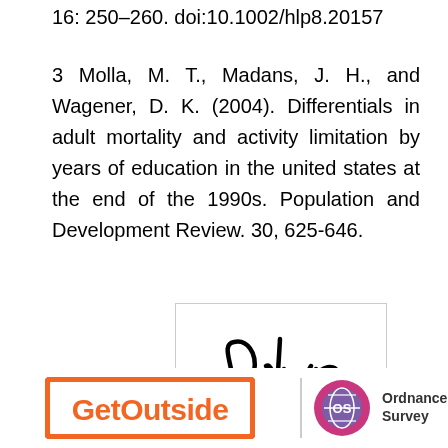16: 250–260. doi:10.1002/hlp8.20157
3 Molla, M. T., Madans, J. H., and Wagener, D. K. (2004). Differentials in adult mortality and activity limitation by years of education in the united states at the end of the 1990s. Population and Development Review. 30, 625-646.
[Figure (illustration): Handwritten cursive signature reading 'Glyn' inside a rectangular border]
[Figure (logo): GetOutside logo in orange with rectangular border, and Ordnance Survey logo with circular emblem and text 'Ordnance Survey']